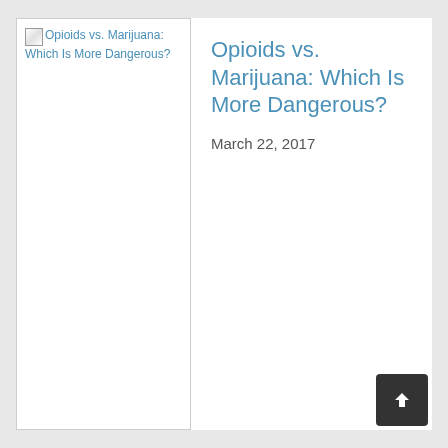[Figure (other): Broken image placeholder showing article thumbnail for 'Opioids vs. Marijuana: Which Is More Dangerous?' with blue link text]
Opioids vs. Marijuana: Which Is More Dangerous?
March 22, 2017